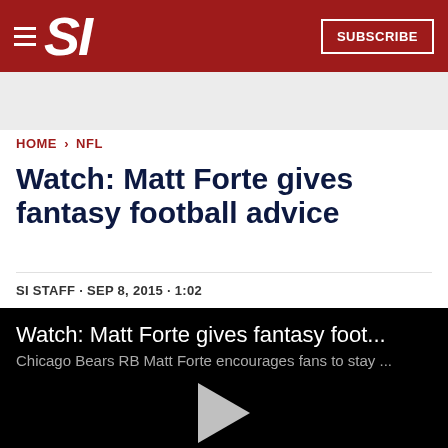SI — SUBSCRIBE
HOME › NFL
Watch: Matt Forte gives fantasy football advice
SI STAFF · SEP 8, 2015 · 1:02
[Figure (screenshot): Video thumbnail with black background showing title 'Watch: Matt Forte gives fantasy foot...' and subtitle 'Chicago Bears RB Matt Forte encourages fans to stay ...' with a gray play button triangle in the center]